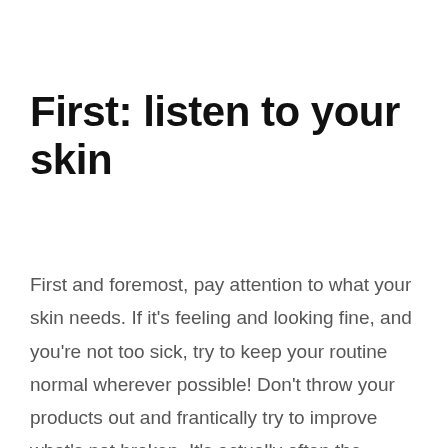First: listen to your skin
First and foremost, pay attention to what your skin needs. If it's feeling and looking fine, and you're not too sick, try to keep your routine normal wherever possible! Don't throw your products out and frantically try to improve what's not broken. It's actually often the changes we make to our routines that cause our skin to go downhill more than the